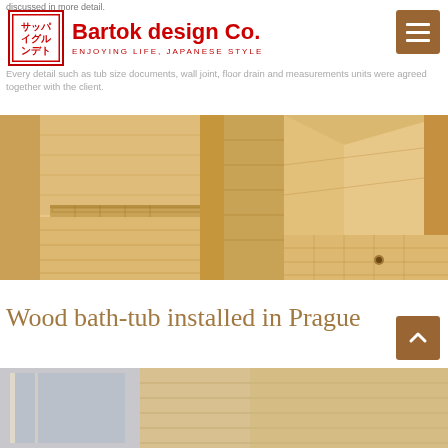discussed in more detail.
[Figure (logo): Bartok design Co. logo with Japanese characters in red border box, company name in red bold text, tagline ENJOYING LIFE, JAPANESE STYLE in red small caps]
Every detail such as tub size documents, wall joint, floor drain and measurements units were agreed together with the client.
[Figure (photo): Interior view of a wooden Japanese-style bath tub showing slatted seat/step inside, light colored natural wood]
[Figure (photo): Interior view of an empty wooden Japanese-style bath tub showing floor with drain hole, light colored natural wood planks]
Wood bath-tub installed in Prague
[Figure (photo): Partial view of a room with a large wooden bath tub installation, light wood panels visible, scroll-up arrow button overlay]